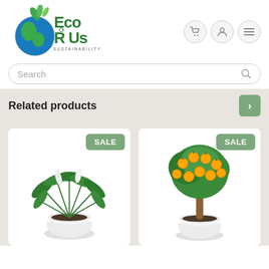[Figure (logo): Eco R Us logo with globe and green leaves, tagline: SUSTAINABILITY IS THE KEY]
[Figure (screenshot): Navigation icons: shopping cart, user account, hamburger menu]
Search
Related products
[Figure (photo): Peace lily plant in white pot with SALE badge]
[Figure (photo): Orange fruit tree in white pot with SALE badge]